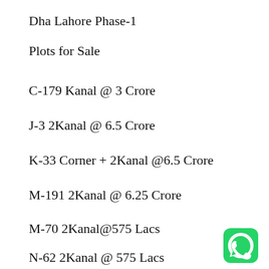Dha Lahore Phase-1
Plots for Sale
C-179 Kanal @ 3 Crore
J-3 2Kanal @ 6.5 Crore
K-33 Corner + 2Kanal @6.5 Crore
M-191 2Kanal @ 6.25 Crore
M-70 2Kanal@575 Lacs
N-62 2Kanal @ 575 Lacs
[Figure (logo): WhatsApp green rounded square icon]